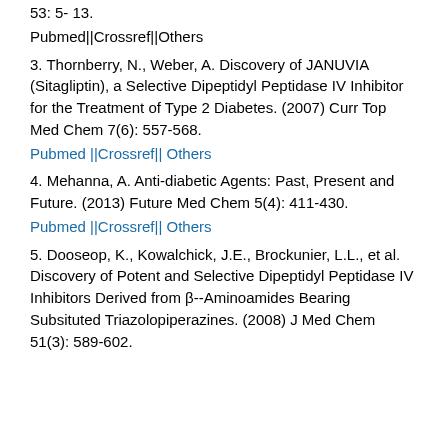53: 5- 13.
Pubmed||Crossref||Others
3. Thornberry, N., Weber, A. Discovery of JANUVIA (Sitagliptin), a Selective Dipeptidyl Peptidase IV Inhibitor for the Treatment of Type 2 Diabetes. (2007) Curr Top Med Chem 7(6): 557-568.
Pubmed ||Crossref|| Others
4. Mehanna, A. Anti-diabetic Agents: Past, Present and Future. (2013) Future Med Chem 5(4): 411-430.
Pubmed ||Crossref|| Others
5. Dooseop, K., Kowalchick, J.E., Brockunier, L.L., et al. Discovery of Potent and Selective Dipeptidyl Peptidase IV Inhibitors Derived from β--Aminoamides Bearing Subsituted Triazolopiperazines. (2008) J Med Chem 51(3): 589-602.